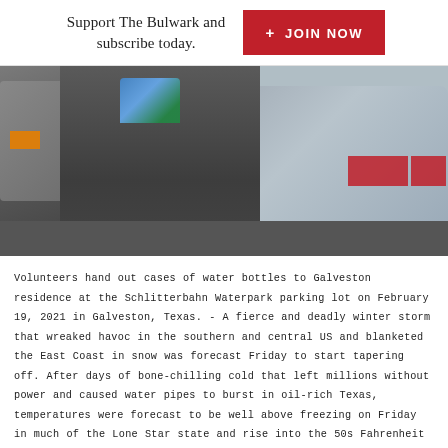Support The Bulwark and subscribe today.
+ JOIN NOW
[Figure (photo): A person in a grey hoodie carrying cases of water bottles in a parking lot, with a silver SUV visible in the background.]
Volunteers hand out cases of water bottles to Galveston residence at the Schlitterbahn Waterpark parking lot on February 19, 2021 in Galveston, Texas. - A fierce and deadly winter storm that wreaked havoc in the southern and central US and blanketed the East Coast in snow was forecast Friday to start tapering off. After days of bone-chilling cold that left millions without power and caused water pipes to burst in oil-rich Texas, temperatures were forecast to be well above freezing on Friday in much of the Lone Star state and rise into the 50s Fahrenheit (10 to 15 Celsius) into the weekend. (Photo by Thomas Shea / AFP) (Photo by THOMAS SHEA/AFP via Getty Images)
[Figure (other): Social media sharing icons: Facebook, Twitter, email/at symbol, and copy/share icon]